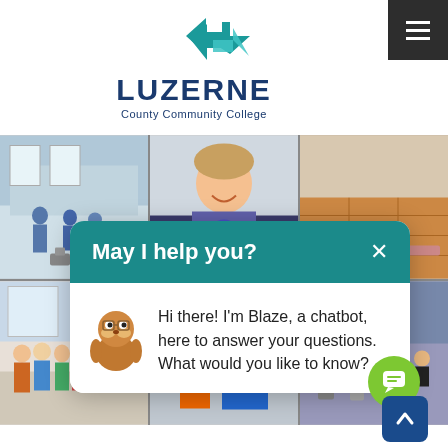[Figure (logo): Luzerne County Community College logo with teal arrow/chevron icon and text]
[Figure (photo): Grid of six photos showing children at educational/activity camps]
May I help you?
Hi there! I'm Blaze, a chatbot, here to answer your questions. What would you like to know?